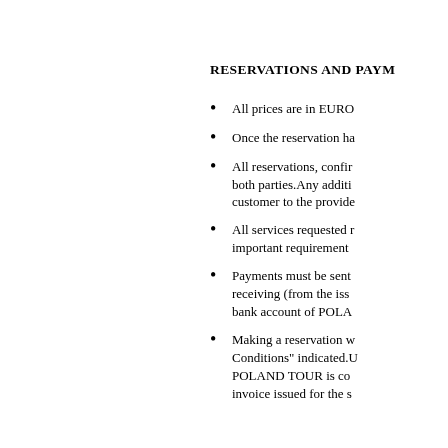RESERVATIONS AND PAYM
All prices are in EURO
Once the reservation ha
All reservations, confir both parties.Any additi customer to the provide
All services requested r important requirement
Payments must be sent receiving (from the iss bank account of POLA
Making a reservation w Conditions" indicated.U POLAND TOUR is co invoice issued for the s